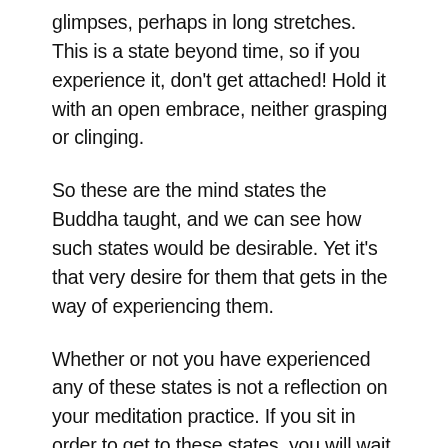glimpses, perhaps in long stretches. This is a state beyond time, so if you experience it, don’t get attached! Hold it with an open embrace, neither grasping or clinging.
So these are the mind states the Buddha taught, and we can see how such states would be desirable. Yet it’s that very desire for them that gets in the way of experiencing them.
Whether or not you have experienced any of these states is not a reflection on your meditation practice. If you sit in order to get to these states, you will wait forever. If you are aware that these states are possible, you will welcome them when they arrive.